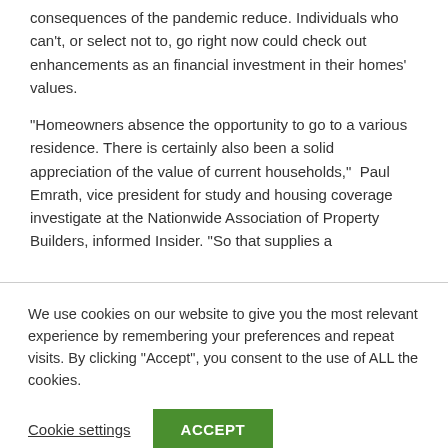consequences of the pandemic reduce. Individuals who can't, or select not to, go right now could check out enhancements as an financial investment in their homes' values.
“Homeowners absence the opportunity to go to a various residence. There is certainly also been a solid appreciation of the value of current households,”  Paul Emrath, vice president for study and housing coverage investigate at the Nationwide Association of Property Builders, informed Insider. “So that supplies a
We use cookies on our website to give you the most relevant experience by remembering your preferences and repeat visits. By clicking “Accept”, you consent to the use of ALL the cookies.
Cookie settings | ACCEPT